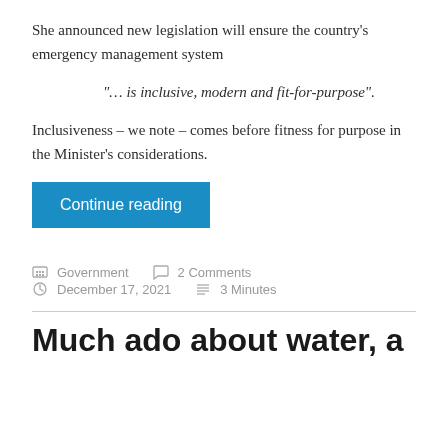She announced new legislation will ensure the country's emergency management system
"… is inclusive, modern and fit-for-purpose".
Inclusiveness – we note  – comes before fitness for purpose in the Minister's considerations.
Continue reading
Government   2 Comments   December 17, 2021   3 Minutes
Much ado about water, a